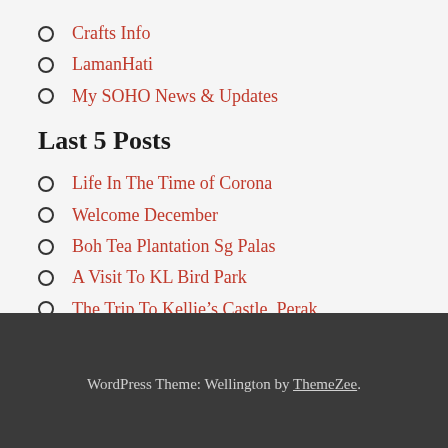Crafts Info
LamanHati
My SOHO News & Updates
Last 5 Posts
Life In The Time of Corona
Welcome December
Boh Tea Plantation Sg Palas
A Visit To KL Bird Park
The Trip To Kellie's Castle, Perak
WordPress Theme: Wellington by ThemeZee.